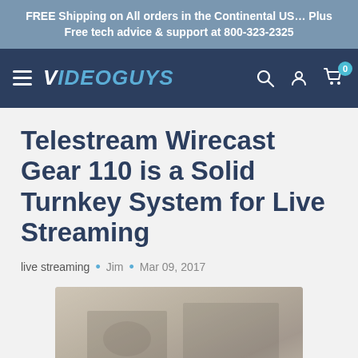FREE Shipping on All orders in the Continental US… Plus Free tech advice & support at 800-323-2325
[Figure (screenshot): Videoguys website navigation bar with hamburger menu, Videoguys logo, search icon, account icon, and cart icon with badge showing 0]
Telestream Wirecast Gear 110 is a Solid Turnkey System for Live Streaming
live streaming • Jim • Mar 09, 2017
[Figure (photo): Partially visible article image, appears to be related to the Telestream Wirecast Gear 110 product]